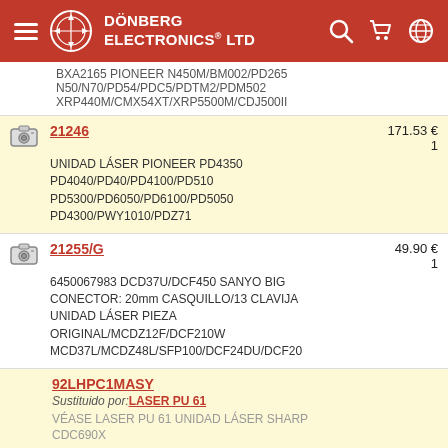DÖNBERG ELECTRONICS® LTD
BXA2165 PIONEER N450M/BM002/PD265 N50/N70/PD54/PDC5/PDTM2/PDM502 XRP440M/CMX54XT/XRP5500M/CDJ500II
21246 — 171.53 € qty:1 — UNIDAD LÁSER PIONEER PD4350 PD4040/PD40/PD4100/PD510 PD5300/PD6050/PD6100/PD5050 PD4300/PWY1010/PDZ71
21255/G — 49.90 € qty:1 — 6450067983 DCD37U/DCF450 SANYO BIG CONECTOR: 20mm CASQUILLO/13 CLAVIJA UNIDAD LÁSER PIEZA ORIGINAL/MCDZ12F/DCF210W MCD37L/MCDZ48L/SFP100/DCF24DU/DCF20
92LHPC1MASY — Sustituido por: LASER PU 61 — VÉASE LASER PU 61 UNIDAD LÁSER SHARP CDC690X
AP 02 — 24.90 €